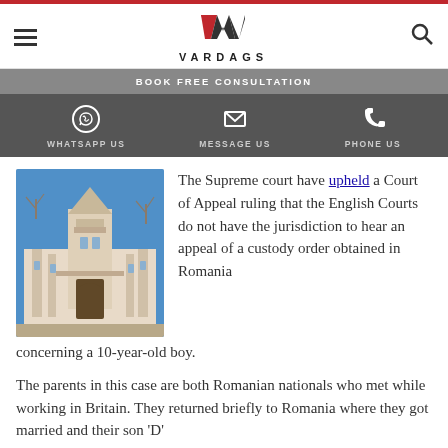VARDAGS
BOOK FREE CONSULTATION
WHATSAPP US  MESSAGE US  PHONE US
[Figure (photo): Photograph of the UK Supreme Court building exterior, ornate stone architecture against a blue sky]
The Supreme court have upheld a Court of Appeal ruling that the English Courts do not have the jurisdiction to hear an appeal of a custody order obtained in Romania concerning a 10-year-old boy.
The parents in this case are both Romanian nationals who met while working in Britain. They returned briefly to Romania where they got married and their son 'D'